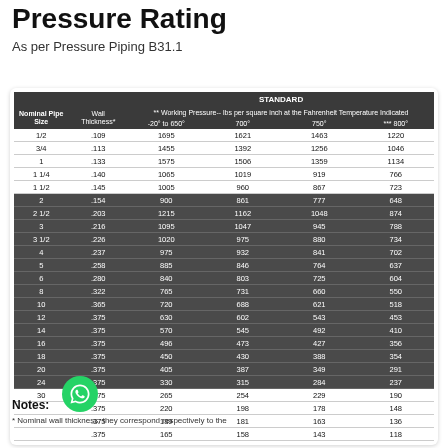Pressure Rating
As per Pressure Piping B31.1
| Nominal Pipe Size | Wall Thickness* | -20° to 650° | 700° | 750° | *** 800° |
| --- | --- | --- | --- | --- | --- |
| 1/2 | .109 | 1695 | 1621 | 1463 | 1220 |
| 3/4 | .113 | 1455 | 1392 | 1256 | 1046 |
| 1 | .133 | 1575 | 1506 | 1359 | 1134 |
| 1 1/4 | .140 | 1065 | 1019 | 919 | 766 |
| 1 1/2 | .145 | 1005 | 960 | 867 | 723 |
| 2 | .154 | 900 | 861 | 777 | 648 |
| 2 1/2 | .203 | 1215 | 1162 | 1048 | 874 |
| 3 | .216 | 1095 | 1047 | 945 | 788 |
| 3 1/2 | .226 | 1020 | 975 | 880 | 734 |
| 4 | .237 | 975 | 932 | 841 | 702 |
| 5 | .258 | 885 | 846 | 764 | 637 |
| 6 | .280 | 840 | 803 | 725 | 604 |
| 8 | .322 | 765 | 731 | 660 | 550 |
| 10 | .365 | 720 | 688 | 621 | 518 |
| 12 | .375 | 630 | 602 | 543 | 453 |
| 14 | .375 | 570 | 545 | 492 | 410 |
| 16 | .375 | 496 | 473 | 427 | 356 |
| 18 | .375 | 450 | 430 | 388 | 354 |
| 20 | .375 | 405 | 387 | 349 | 291 |
| 24 | .375 | 330 | 315 | 284 | 237 |
| 30 | .375 | 265 | 254 | 229 | 190 |
|  | .375 | 220 | 198 | 178 | 148 |
|  | .375 | 189 | 181 | 163 | 136 |
|  | .375 | 165 | 158 | 143 | 118 |
Notes:
* Nominal wall thickness: they correspond respectively to the